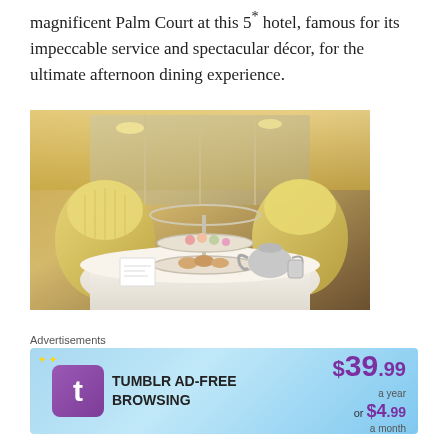magnificent Palm Court at this 5* hotel, famous for its impeccable service and spectacular décor, for the ultimate afternoon dining experience.
[Figure (photo): Interior photo of an elegant hotel Palm Court afternoon tea setting, showing a tiered cake stand with pastries and scones, a silver teapot, white tablecloth, and ornate gold-trimmed chairs with mirrors and chandeliers in the background.]
SHARE THIS:
[Figure (other): Social media share icons: Facebook (blue circle), Twitter (light blue circle), Pinterest (red circle), LinkedIn (dark blue circle), Print (gray circle), Email (light gray circle), More (blue circle)]
Advertisements
[Figure (other): Tumblr ad banner: TUMBLR AD-FREE BROWSING $39.99 a year or $4.99 a month]